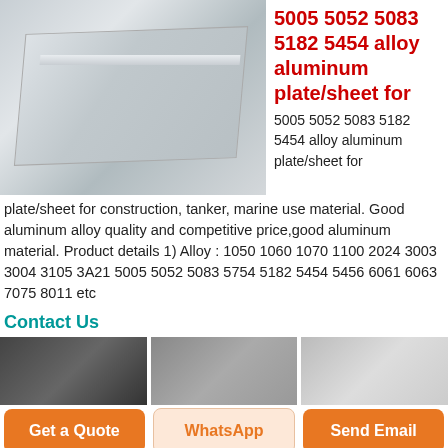[Figure (photo): Aluminum plate/sheet product photo showing a flat silver-grey metal plate on a surface]
5005 5052 5083 5182 5454 alloy aluminum plate/sheet for
5005 5052 5083 5182 5454 alloy aluminum plate/sheet for construction, tanker, marine use material. Good aluminum alloy quality and competitive price,good aluminum material. Product details 1) Alloy : 1050 1060 1070 1100 2024 3003 3004 3105 3A21 5005 5052 5083 5754 5182 5454 5456 6061 6063 7075 8011 etc
Contact Us
[Figure (photo): Three product thumbnail images at the bottom of the page]
Get a Quote
WhatsApp
Send Email